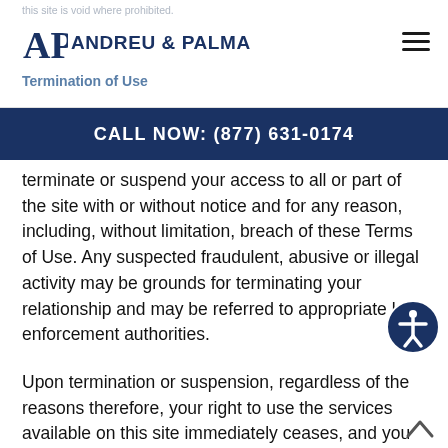this site is void where prohibited.
[Figure (logo): Andreu & Palma law firm logo with AP monogram]
Termination of Use
CALL NOW: (877) 631-0174
terminate or suspend your access to all or part of the site with or without notice and for any reason, including, without limitation, breach of these Terms of Use. Any suspected fraudulent, abusive or illegal activity may be grounds for terminating your relationship and may be referred to appropriate law enforcement authorities.
Upon termination or suspension, regardless of the reasons therefore, your right to use the services available on this site immediately ceases, and you acknowledge and agree that we may immediately deactivate or delete your account and all related information and files in your account and/or bar any